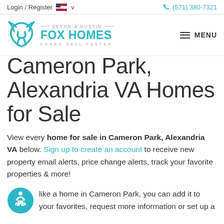Login / Register  🇺🇸 ∨    (571) 380-7321
[Figure (logo): Devon & Dustin Fox Homes logo with fox icon and tagline Foxes Sell Faster]
Cameron Park, Alexandria VA Homes for Sale
View every home for sale in Cameron Park, Alexandria VA below. Sign up to create an account to receive new property email alerts, price change alerts, track your favorite properties & more!
like a home in Cameron Park, you can add it to your favorites, request more information or set up a